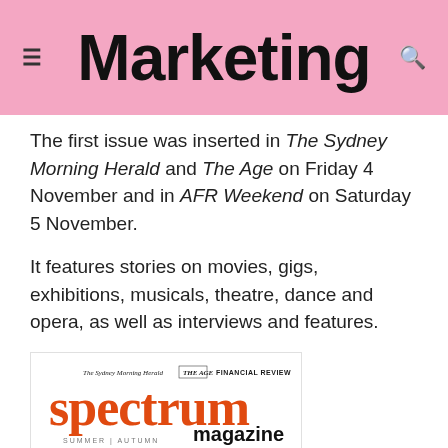Marketing
The first issue was inserted in The Sydney Morning Herald and The Age on Friday 4 November and in AFR Weekend on Saturday 5 November.
It features stories on movies, gigs, exhibitions, musicals, theatre, dance and opera, as well as interviews and features.
[Figure (photo): Cover of Spectrum magazine showing 'The Mormons are coming' headline with a man's face and the logos of The Sydney Morning Herald, The Age, and Financial Review]